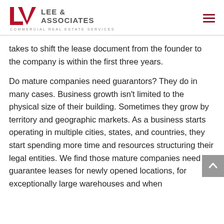Lee & Associates Commercial Real Estate Services
takes to shift the lease document from the founder to the company is within the first three years.
Do mature companies need guarantors? They do in many cases. Business growth isn't limited to the physical size of their building. Sometimes they grow by territory and geographic markets. As a business starts operating in multiple cities, states, and countries, they start spending more time and resources structuring their legal entities. We find those mature companies need to guarantee leases for newly opened locations, for exceptionally large warehouses and when